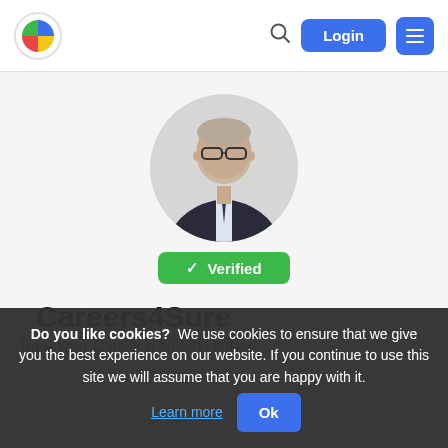[Figure (logo): Colorful pie-chart style logo icon for a careers website]
Login  ☰
[Figure (photo): Profile photo of an older man wearing glasses, dark suit, tie, in a circular crop]
✓ Verified
Careers4Sure
Take Your Career a Notch Higher
Do you like cookies?  We use cookies to ensure that we give you the best experience on our website. If you continue to use this site we will assume that you are happy with it. Learn more  Ok